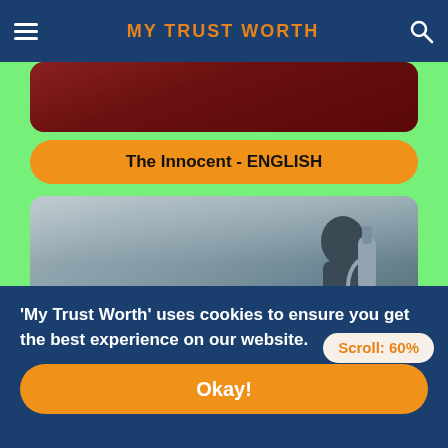MY TRUST WORTH
[Figure (screenshot): Dark red/maroon image at top of content area, partially visible, rounded corners]
The Innocent - ENGLISH
[Figure (screenshot): Chernobyl HBO promotional image showing a figure in a hazmat suit against a grey urban background, with bold white text 'CHERNOBYL' and 'HBO' logo]
Scroll: 60%
'My Trust Worth' uses cookies to ensure you get the best experience on our website.
Okay!